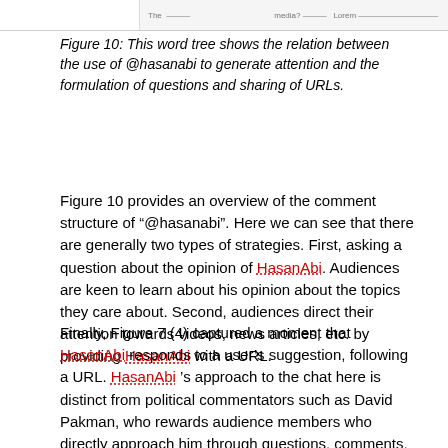[Figure (other): Partial view of a word tree diagram showing relations between @hasanabi mentions and questions/URLs]
Figure 10: This word tree shows the relation between the use of @hasanabi to generate attention and the formulation of questions and sharing of URLs.
Figure 10 provides an overview of the comment structure of “@hasanabi”. Here we can see that there are generally two types of strategies. First, asking a question about the opinion of HasanAbi. Audiences are keen to learn about his opinion about the topics they care about. Second, audiences direct their attention towards videos, news articles, etc. by providing HasanAbi with a URL.
Finally, Figure 7 (4) captured a moment that HasanAbi responds to a user’s suggestion, following a URL. HasanAbi ’s approach to the chat here is distinct from political commentators such as David Pakman, who rewards audience members who directly approach him through questions, comments, and subscriptions by mentioning them during the show. HasanAbi never mentions the usernames of people that message him or that subscribe to him.